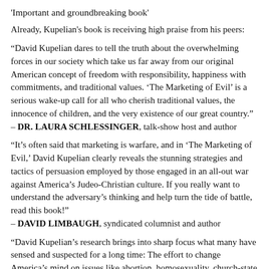'Important and groundbreaking book'
Already, Kupelian's book is receiving high praise from his peers:
“David Kupelian dares to tell the truth about the overwhelming forces in our society which take us far away from our original American concept of freedom with responsibility, happiness with commitments, and traditional values. ‘The Marketing of Evil’ is a serious wake-up call for all who cherish traditional values, the innocence of children, and the very existence of our great country.”
– DR. LAURA SCHLESSINGER, talk-show host and author
“It’s often said that marketing is warfare, and in ‘The Marketing of Evil,’ David Kupelian clearly reveals the stunning strategies and tactics of persuasion employed by those engaged in an all-out war against America’s Judeo-Christian culture. If you really want to understand the adversary’s thinking and help turn the tide of battle, read this book!”
– DAVID LIMBAUGH, syndicated columnist and author
“David Kupelian’s research brings into sharp focus what many have sensed and suspected for a long time: The effort to change America’s mind on issues like abortion, homosexuality, church-state separation, and more, is a well-thought-out strategic campaign that uses the methods of Madison Avenue to market rank